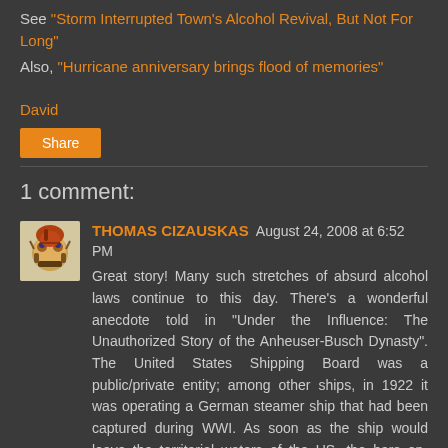See "Storm Interrupted Town's Alcohol Revival, But Not For Long"
Also, "Hurricane anniversary brings flood of memories"
David
Share
1 comment:
THOMAS CIZAUSKAS August 24, 2008 at 6:52 PM
Great story! Many such stretches of absurd alcohol laws continue to this day. There's a wonderful anecdote told in "Under the Influence: The Unauthorized Story of the Anheuser-Busch Dynasty". The United States Shipping Board was a public/private entity; among other ships, in 1922 it was operating a German steamer ship that had been captured during WWI. As soon as the ship would leave the territorial waters of the US, the bars on-board